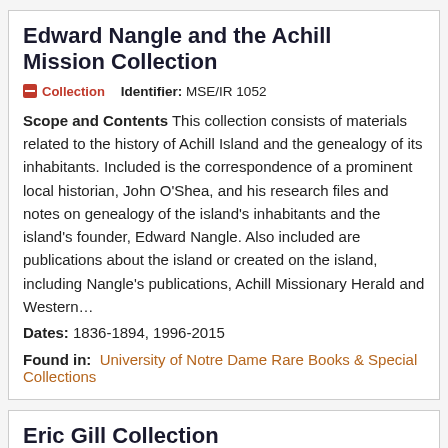Edward Nangle and the Achill Mission Collection
Collection   Identifier: MSE/IR 1052
Scope and Contents This collection consists of materials related to the history of Achill Island and the genealogy of its inhabitants. Included is the correspondence of a prominent local historian, John O'Shea, and his research files and notes on genealogy of the island's inhabitants and the island's founder, Edward Nangle. Also included are publications about the island or created on the island, including Nangle's publications, Achill Missionary Herald and Western...
Dates: 1836-1894, 1996-2015
Found in:  University of Notre Dame Rare Books & Special Collections
Eric Gill Collection
Collection   Identifier: MS GILL
Abstract The Department of Rare Books and Special Collections holds a considerable